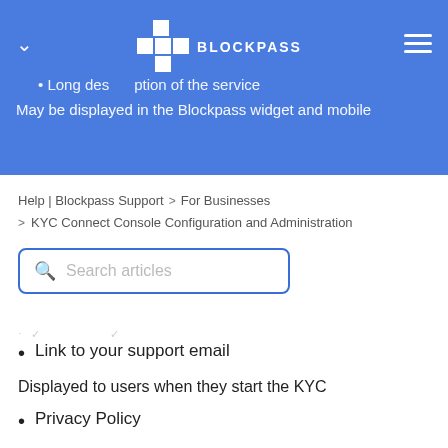Long description of the service
May be displayed in the Blockpass widget and mobile
Help | Blockpass Support > For Businesses
> KYC Connect Console Configuration and Administration
[Figure (screenshot): Search articles input box with magnifying glass icon and blue border]
Link to your support email
Displayed to users when they start the KYC
Privacy Policy
Displayed to users when they start the KYC
Terms and conditions